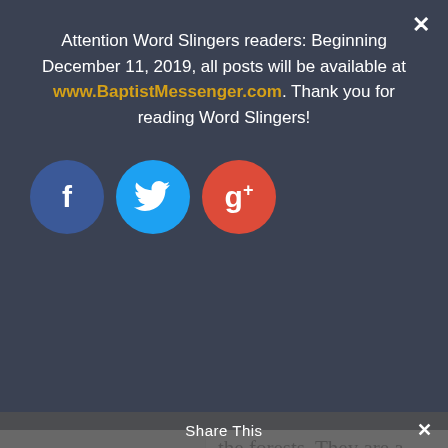Attention Word Slingers readers: Beginning December 11, 2019, all posts will be available at www.BaptistMessenger.com. Thank you for reading Word Slingers!
[Figure (other): Three social media share buttons: Facebook (blue circle with 'f'), Twitter (light blue circle with bird icon), Google+ (red circle with 'g+')]
the forests. They are a cross between a stuffed animal and a toy and sometimes as cute as a koala bear.
Tim, though, doesn't have time to chase Pokémon for fun. He's on board a train to Ryme City, the only place on the planet where humans and Pokémon co
Share This